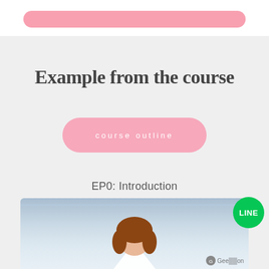[Figure (illustration): Pink rounded pill/button shape at the top of the page against white background]
Example from the course
course outline
EP0: Introduction
[Figure (screenshot): A thumbnail preview of an anime-style video showing a character with brown hair bowing, with a light blue background and a LINE messaging app badge icon in the bottom right, plus a Gee-on watermark]